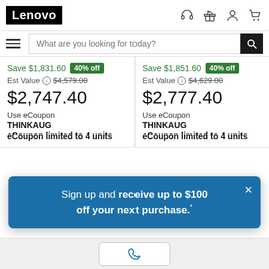[Figure (screenshot): Lenovo website header with logo, icons (headset, gift, user, cart), search bar with placeholder text 'What are you looking for today?', hamburger menu icon]
Save $1,831.60  40% off
Est Value $4,579.00
$2,747.40
Use eCoupon
THINKAUG
eCoupon limited to 4 units
Save $1,851.60  40% off
Est Value $4,629.00
$2,777.40
Use eCoupon
THINKAUG
eCoupon limited to 4 units
Sign up and receive up to $100 off your next purchase.*
No, Thanks
Subscribe
Ships
[Figure (screenshot): Lenovo website bottom bar with chat/phone button icon]